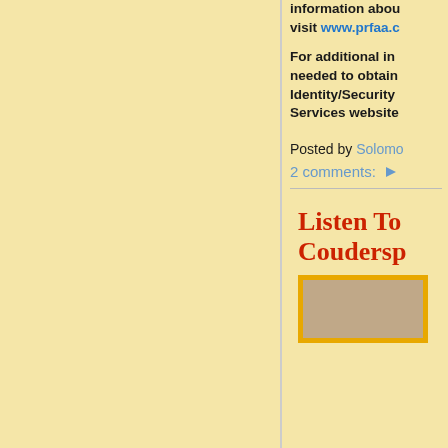information about visit www.prfaa.c
For additional in needed to obtain Identity/Security Services website
Posted by Solomon
2 comments:
Listen To Coudersp